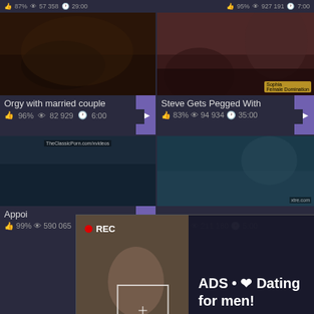87% 57 358 29:00 | 95% 927 191 7:00
[Figure (screenshot): Video thumbnail - Orgy with married couple, dark bedroom scene]
Orgy with married couple
96% 82 929 6:00
[Figure (screenshot): Video thumbnail - Steve Gets Pegged With, multiple women]
Steve Gets Pegged With
83% 94 934 35:00
[Figure (screenshot): Video thumbnail - Appoi..., TheClassicPorn.com/xvideos watermark]
Appoi
99% 590 065
[Figure (screenshot): Video thumbnail - pool scene]
88% 211 180 5:00
[Figure (advertisement): Ad overlay: REC badge with red dot, selfie-style photo of woman, text: ADS • ❤ Dating for men! Find bad girls here ❤]
ADS • ❤ Dating for men! Find bad girls here ❤